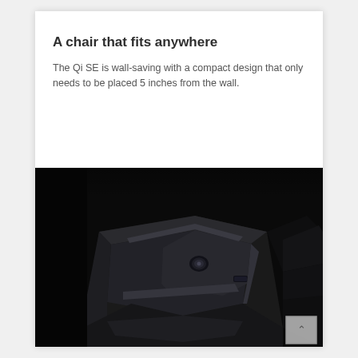A chair that fits anywhere
The Qi SE is wall-saving with a compact design that only needs to be placed 5 inches from the wall.
[Figure (photo): Close-up photograph of a dark/black massage chair armrest and leg rest, shot against a black background. The armrest shows a sleek, angular design with metallic accents and a control button.]